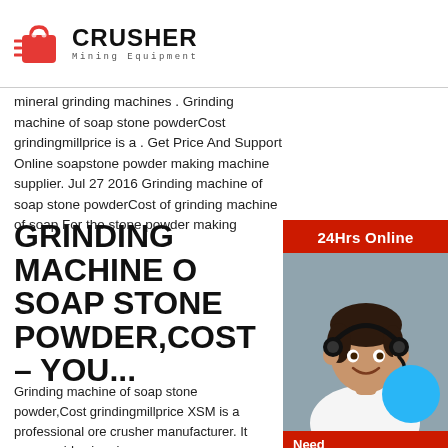[Figure (logo): Crusher Mining Equipment logo — red shopping bag icon with motion lines, bold CRUSHER text, subtitle Mining Equipment]
mineral grinding machines . Grinding machine of soap stone powderCost grindingmillprice is a . Get Price And Support Online soapstone powder making machine supplier. Jul 27 2016 Grinding machine of soap stone powderCost of grinding machine of soap For the stone powder making
GRINDING MACHINE OF SOAP STONE POWDER,COST – YOU...
Grinding machine of soap stone powder,Cost grindingmillprice XSM is a professional ore crusher manufacturer. It can provides iron jaw cru...
SOAP STONE GRINDING MACHINE – UNTERKUENFTE-OHNE...
[Figure (photo): 24Hrs Online chat widget on the right side: red banner with '24Hrs Online', photo of smiling woman with headset, 'Need & suggestions' text, blue circle, 'Chat Now' button, 'Enquiry' link, 'limingjlmofen@sina.com' email]